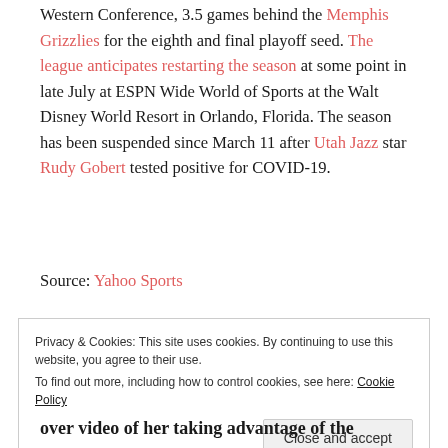Western Conference, 3.5 games behind the Memphis Grizzlies for the eighth and final playoff seed. The league anticipates restarting the season at some point in late July at ESPN Wide World of Sports at the Walt Disney World Resort in Orlando, Florida. The season has been suspended since March 11 after Utah Jazz star Rudy Gobert tested positive for COVID-19.
Source: Yahoo Sports
Privacy & Cookies: This site uses cookies. By continuing to use this website, you agree to their use. To find out more, including how to control cookies, see here: Cookie Policy
over video of her taking advantage of the